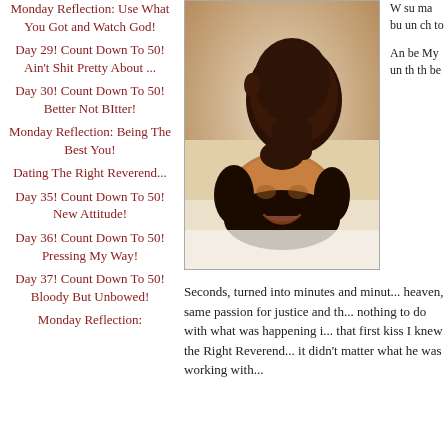Monday Reflection: Use What You Got and Watch God!
Day 29! Count Down To 50! Ain't Shit Pretty About ...
Day 30! Count Down To 50! Better Not BItter!
Monday Reflection: Being The Best You!
Dating The Right Reverend...
Day 35! Count Down To 50! New Attitude!
Day 36! Count Down To 50! Pressing My Way!
Day 37! Count Down To 50! Bloody But Unbowed!
Monday Reflection:
[Figure (photo): A couple, man kissing woman on her cheek/neck, woman smiling with eyes closed, lying down together.]
W... su... ma... bu... un... ch... to...
An... be... My... un... th... th... be...
Seconds, turned into minutes and minut... heaven, same passion for justice and th... nothing to do with what was happening i... that first kiss I knew the Right Reverend... it didn't matter what he was working with...